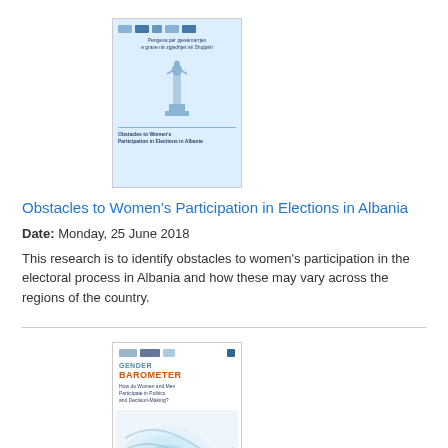[Figure (illustration): Cover image of the report 'Obstacles to Women's Participation in Elections in Albania' - light blue background with figure illustration and logos]
Obstacles to Women's Participation in Elections in Albania
Date: Monday, 25 June 2018
This research is to identify obstacles to women's participation in the electoral process in Albania and how these may vary across the regions of the country.
[Figure (illustration): Cover image of the report 'Gender Barometer: How do Women and Men Participate in Politics and Decision-Making?' - white cover with blue wave design and orange title text]
Gender Barometer: How do Women and Men Participate in Politics and Decision-Making?